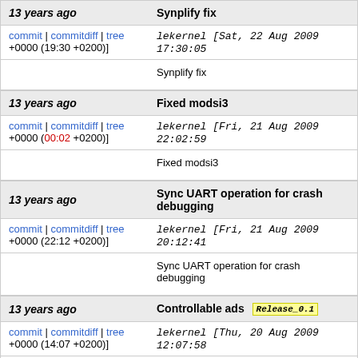13 years ago | Synplify fix
commit | commitdiff | tree lekernel [Sat, 22 Aug 2009 17:30:05 +0000 (19:30 +0200)]
Synplify fix
13 years ago | Fixed modsi3
commit | commitdiff | tree lekernel [Fri, 21 Aug 2009 22:02:59 +0000 (00:02 +0200)]
Fixed modsi3
13 years ago | Sync UART operation for crash debugging
commit | commitdiff | tree lekernel [Fri, 21 Aug 2009 20:12:41 +0000 (22:12 +0200)]
Sync UART operation for crash debugging
13 years ago | Controllable ads Release_0.1
commit | commitdiff | tree lekernel [Thu, 20 Aug 2009 12:07:58 +0000 (14:07 +0200)]
Controllable ads